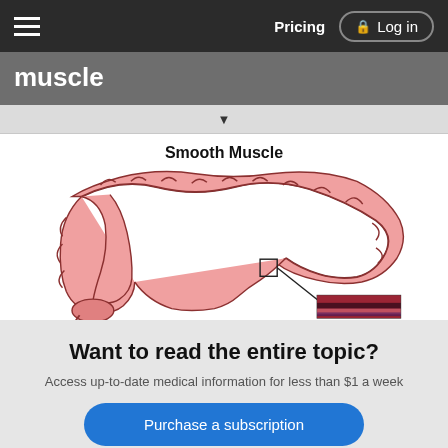muscle | Pricing | Log in
muscle
[Figure (illustration): Diagram of smooth muscle showing large intestine cross-section with a magnified view of smooth muscle tissue layers]
Want to read the entire topic?
Access up-to-date medical information for less than $1 a week
Purchase a subscription
I'm already a subscriber
Browse sample topics